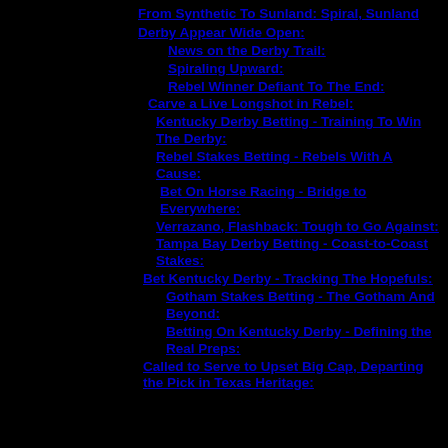From Synthetic To Sunland: Spiral, Sunland Derby Appear Wide Open:
News on the Derby Trail:
Spiraling Upward:
Rebel Winner Defiant To The End:
Carve a Live Longshot in Rebel:
Kentucky Derby Betting - Training To Win The Derby:
Rebel Stakes Betting - Rebels With A Cause:
Bet On Horse Racing - Bridge to Everywhere:
Verrazano, Flashback: Tough to Go Against:
Tampa Bay Derby Betting - Coast-to-Coast Stakes:
Bet Kentucky Derby - Tracking The Hopefuls:
Gotham Stakes Betting - The Gotham And Beyond:
Betting On Kentucky Derby - Defining the Real Preps:
Called to Serve to Upset Big Cap, Departing the Pick in Texas Heritage: